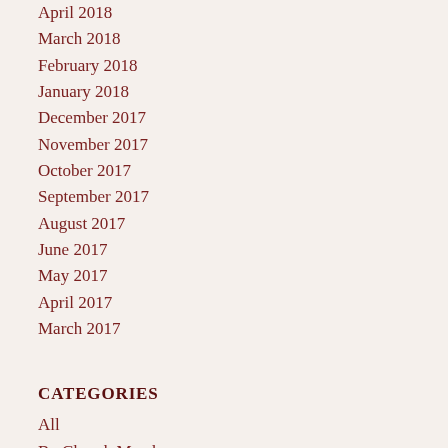April 2018
March 2018
February 2018
January 2018
December 2017
November 2017
October 2017
September 2017
August 2017
June 2017
May 2017
April 2017
March 2017
CATEGORIES
All
By Church Members
David Gregg